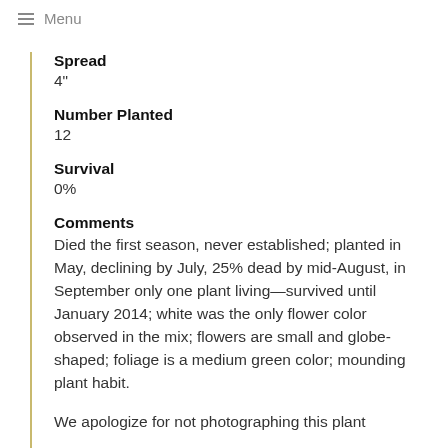Menu
Spread
4"
Number Planted
12
Survival
0%
Comments
Died the first season, never established; planted in May, declining by July, 25% dead by mid-August, in September only one plant living—survived until January 2014; white was the only flower color observed in the mix; flowers are small and globe-shaped; foliage is a medium green color; mounding plant habit.
We apologize for not photographing this plant